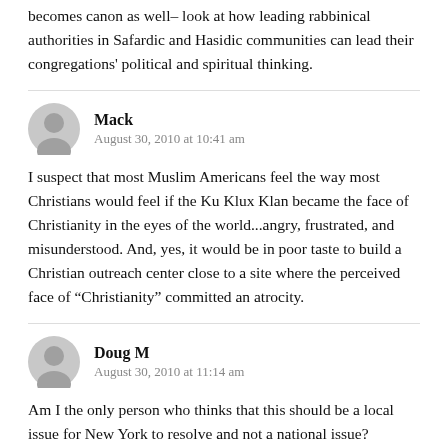becomes canon as well– look at how leading rabbinical authorities in Safardic and Hasidic communities can lead their congregations' political and spiritual thinking.
Mack
August 30, 2010 at 10:41 am
I suspect that most Muslim Americans feel the way most Christians would feel if the Ku Klux Klan became the face of Christianity in the eyes of the world...angry, frustrated, and misunderstood. And, yes, it would be in poor taste to build a Christian outreach center close to a site where the perceived face of “Christianity” committed an atrocity.
Doug M
August 30, 2010 at 11:14 am
Am I the only person who thinks that this should be a local issue for New York to resolve and not a national issue?